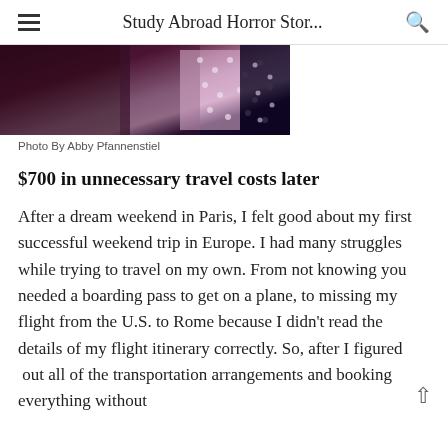Study Abroad Horror Stor...
[Figure (photo): Close-up photo of dark purple, pink, and black polka dot patterned fabric or clothing items arranged together.]
Photo By Abby Pfannenstiel
$700 in unnecessary travel costs later
After a dream weekend in Paris, I felt good about my first successful weekend trip in Europe. I had many struggles while trying to travel on my own. From not knowing you needed a boarding pass to get on a plane, to missing my flight from the U.S. to Rome because I didn't read the details of my flight itinerary correctly. So, after I figured out all of the transportation arrangements and booking everything without